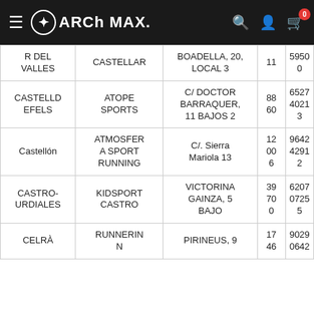ARCh MAX
| City | Store | Address | Phone1 | Phone2 |
| --- | --- | --- | --- | --- |
| R DEL VALLES | CASTELLAR | BOADELLA, 20, LOCAL 3 | 11 | 59500 |
| CASTELLDEFELS | ATOPE SPORTS | C/ DOCTOR BARRAQUER, 11 BAJOS 2 | 88 60 | 6527 4021 3 |
| Castellón | ATMOSFERA SPORT RUNNING | C/. Sierra Mariola 13 | 12 00 6 | 9642 4291 2 |
| CASTRO-URDIALES | KIDSPORT CASTRO | VICTORINA GAINZA, 5 BAJO | 39 70 0 | 6207 0725 5 |
| CELRÀ | RUNNERIN N | PIRINEUS, 9 | 17 46 | 9029 0642 |